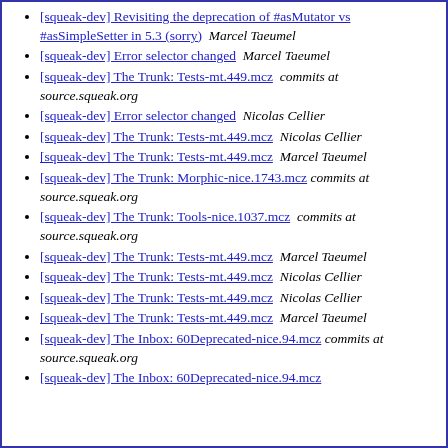[squeak-dev] Revisiting the deprecation of #asMutator vs #asSimpleSetter in 5.3 (sorry)  Marcel Taeumel
[squeak-dev] Error selector changed  Marcel Taeumel
[squeak-dev] The Trunk: Tests-mt.449.mcz  commits at source.squeak.org
[squeak-dev] Error selector changed  Nicolas Cellier
[squeak-dev] The Trunk: Tests-mt.449.mcz  Nicolas Cellier
[squeak-dev] The Trunk: Tests-mt.449.mcz  Marcel Taeumel
[squeak-dev] The Trunk: Morphic-nice.1743.mcz  commits at source.squeak.org
[squeak-dev] The Trunk: Tools-nice.1037.mcz  commits at source.squeak.org
[squeak-dev] The Trunk: Tests-mt.449.mcz  Marcel Taeumel
[squeak-dev] The Trunk: Tests-mt.449.mcz  Nicolas Cellier
[squeak-dev] The Trunk: Tests-mt.449.mcz  Nicolas Cellier
[squeak-dev] The Trunk: Tests-mt.449.mcz  Marcel Taeumel
[squeak-dev] The Inbox: 60Deprecated-nice.94.mcz  commits at source.squeak.org
[squeak-dev] The Inbox: 60Deprecated-nice.94.mcz